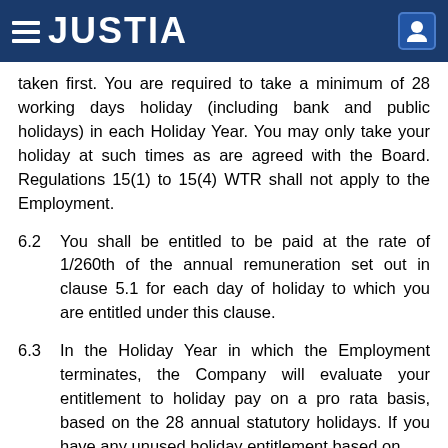JUSTIA
taken first. You are required to take a minimum of 28 working days holiday (including bank and public holidays) in each Holiday Year. You may only take your holiday at such times as are agreed with the Board. Regulations 15(1) to 15(4) WTR shall not apply to the Employment.
6.2   You shall be entitled to be paid at the rate of 1/260th of the annual remuneration set out in clause 5.1 for each day of holiday to which you are entitled under this clause.
6.3   In the Holiday Year in which the Employment terminates, the Company will evaluate your entitlement to holiday pay on a pro rata basis, based on the 28 annual statutory holidays. If you have any unused holiday entitlement based on